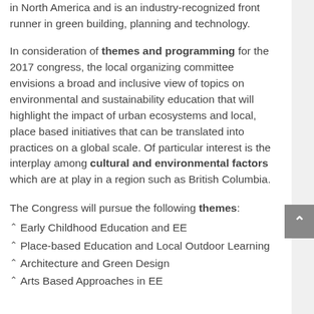in North America and is an industry-recognized front runner in green building, planning and technology.
In consideration of themes and programming for the 2017 congress, the local organizing committee envisions a broad and inclusive view of topics on environmental and sustainability education that will highlight the impact of urban ecosystems and local, place based initiatives that can be translated into practices on a global scale. Of particular interest is the interplay among cultural and environmental factors which are at play in a region such as British Columbia.
The Congress will pursue the following themes:
Early Childhood Education and EE
Place-based Education and Local Outdoor Learning
Architecture and Green Design
Arts Based Approaches in EE